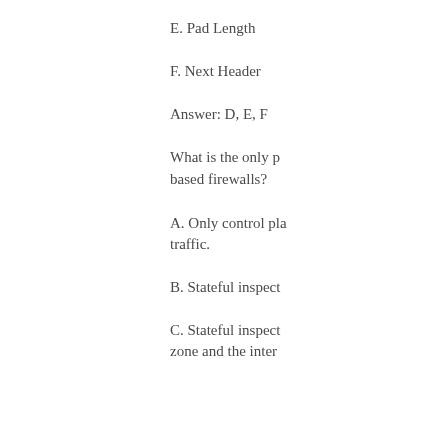E. Pad Length
F. Next Header
Answer: D, E, F
What is the only p... based firewalls?
A. Only control pla... traffic.
B. Stateful inspect...
C. Stateful inspect... zone and the inter...